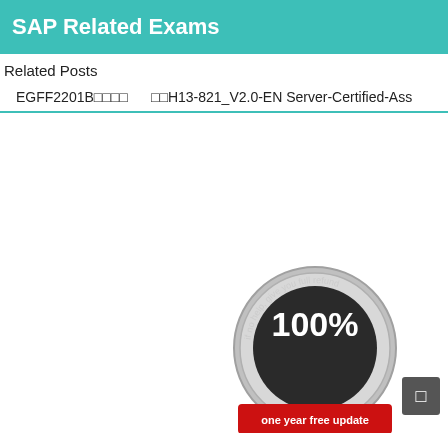SAP Related Exams
Related Posts
EGFF2201B□□□□    □□H13-821_V2.0-EN Server-Certified-Ass
[Figure (illustration): A silver and red badge/seal reading '100%' in the center with text 'if no help, give you full refund' around the top and 'one year free update' along the bottom red ribbon.]